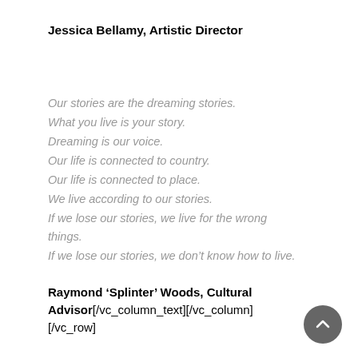Jessica Bellamy, Artistic Director
Our stories are the dreaming stories.
What you live is your story.
Dreaming is our voice.
Our life is connected to country.
Our life is connected to place.
We live according to our stories.
If we lose our stories, we live for the wrong things.
If we lose our stories, we don't know how to live.
Raymond ‘Splinter’ Woods, Cultural Advisor[/vc_column_text][/vc_column][/vc_row]